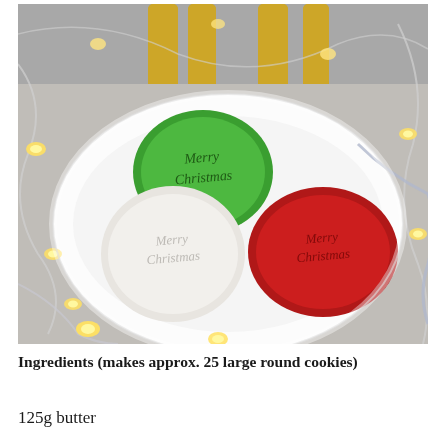[Figure (photo): Photo of three decorated round Christmas cookies on a white oval plate. One cookie is green with 'Merry Christmas' text, one is white/silver with 'Merry Christmas' text, and one is red with 'Merry Christmas' text. The plate is surrounded by string fairy lights. In the background, the legs of a gold glitter reindeer figurine are visible.]
Ingredients (makes approx. 25 large round cookies)
125g butter